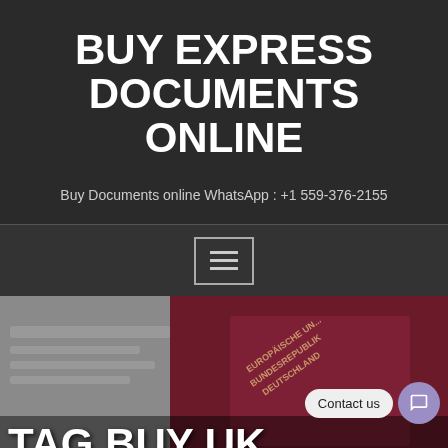BUY EXPRESS DOCUMENTS ONLINE
Buy Documents online WhatsApp : +1 559-376-2155
[Figure (screenshot): Hamburger menu navigation button with three horizontal lines inside a rectangle outline, on dark background]
[Figure (photo): Photo of a dark red German passport (EUROPAISCHE UNION BUNDESREPUBLIK DEUTSCHLAND) along with other documents, with large white overlay text reading TAG BUY UK DRIVING LICENSE ONLINE and a Contact us chat bubble in the bottom right corner]